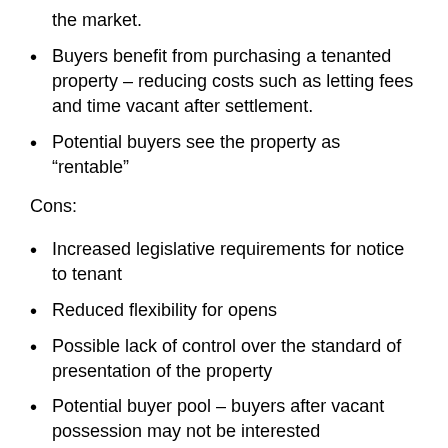the market.
Buyers benefit from purchasing a tenanted property – reducing costs such as letting fees and time vacant after settlement.
Potential buyers see the property as “rentable”
Cons:
Increased legislative requirements for notice to tenant
Reduced flexibility for opens
Possible lack of control over the standard of presentation of the property
Potential buyer pool – buyers after vacant possession may not be interested